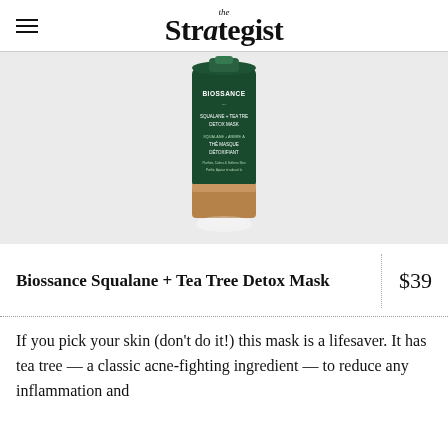the Strategist
[Figure (photo): Biossance Squalane + Tea Tree Detox Mask product tube, green with gold/copper cap, on light gray background]
Biossance Squalane + Tea Tree Detox Mask
$39
If you pick your skin (don't do it!) this mask is a lifesaver. It has tea tree — a classic acne-fighting ingredient — to reduce any inflammation and